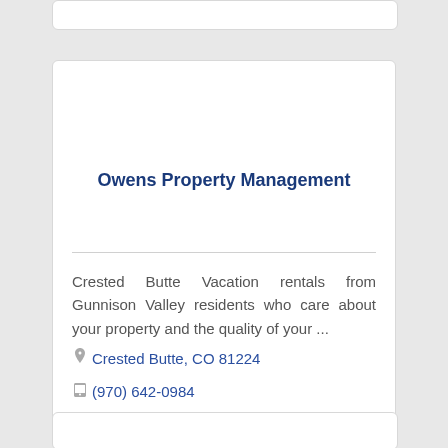Owens Property Management
Crested Butte Vacation rentals from Gunnison Valley residents who care about your property and the quality of your...
Crested Butte, CO 81224
(970) 642-0984